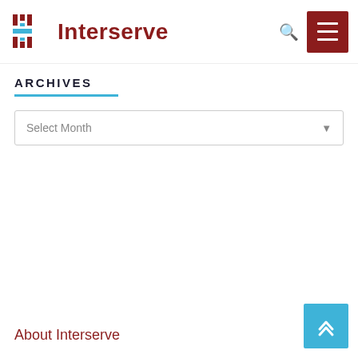Interserve
ARCHIVES
Select Month
About Interserve